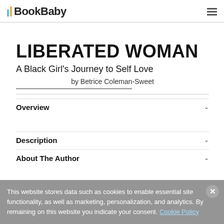BookBaby
LIBERATED WOMAN
A Black Girl's Journey to Self Love
by Betrice Coleman-Sweet
Overview
Description
About The Author
This website stores data such as cookies to enable essential site functionality, as well as marketing, personalization, and analytics. By remaining on this website you indicate your consent. Cookie Policy